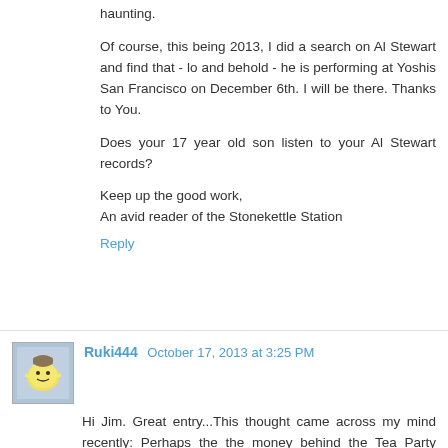haunting.
Of course, this being 2013, I did a search on Al Stewart and find that - lo and behold - he is performing at Yoshis San Francisco on December 6th. I will be there. Thanks to You.
Does your 17 year old son listen to your Al Stewart records?
Keep up the good work,
An avid reader of the Stonekettle Station
Reply
Ruki444  October 17, 2013 at 3:25 PM
Hi Jim. Great entry...This thought came across my mind recently: Perhaps the the money behind the Tea Party (Koch brothers, et al) and their ilk orchestrated this whole thing behind the scenes because if the economy did go belly up as a result of the shut-down, default, etc., stock prices would drop and they'd be able to buy up all that